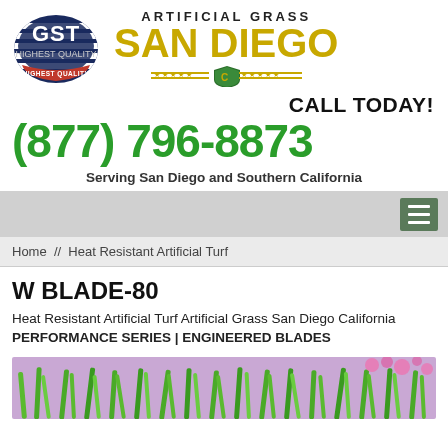[Figure (logo): GST Highest Quality logo (circular badge with blue and dark background, red ribbon at bottom, and Artificial Grass San Diego brand text with golden letters and green shield emblem)]
CALL TODAY!
(877) 796-8873
Serving San Diego and Southern California
Home // Heat Resistant Artificial Turf
W BLADE-80
Heat Resistant Artificial Turf Artificial Grass San Diego California PERFORMANCE SERIES | ENGINEERED BLADES
[Figure (photo): Close-up photo of artificial grass blades (green plastic turf) with pink/purple flowers in the background]